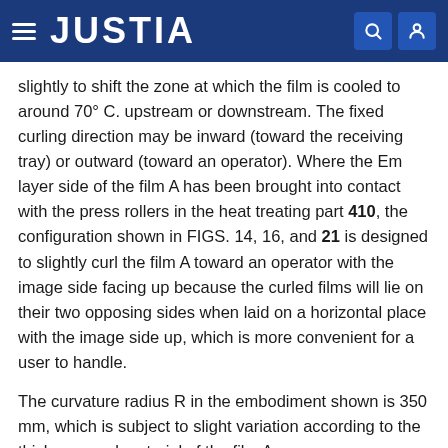JUSTIA
slightly to shift the zone at which the film is cooled to around 70° C. upstream or downstream. The fixed curling direction may be inward (toward the receiving tray) or outward (toward an operator). Where the Em layer side of the film A has been brought into contact with the press rollers in the heat treating part 410, the configuration shown in FIGS. 14, 16, and 21 is designed to slightly curl the film A toward an operator with the image side facing up because the curled films will lie on their two opposing sides when laid on a horizontal place with the image side up, which is more convenient for a user to handle.
The curvature radius R in the embodiment shown is 350 mm, which is subject to slight variation according to the thickness and material of the film A.
The cooling roller arrangement in FIG. 21, making a